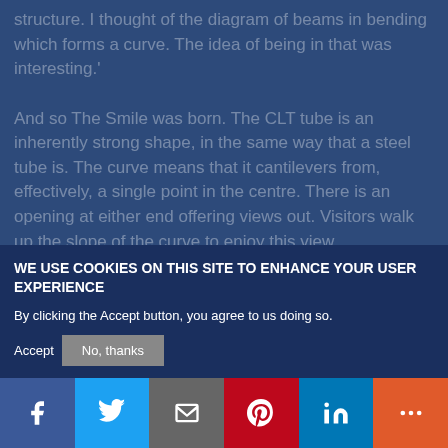structure. I thought of the diagram of beams in bending which forms a curve. The idea of being in that was interesting.' And so The Smile was born. The CLT tube is an inherently strong shape, in the same way that a steel tube is. The curve means that it cantilevers from, effectively, a single point in the centre. There is an opening at either end offering views out. Visitors walk up the slope of the curve to enjoy this view, encountering a glass balustrade with a handrail to it that Brooks describ... the rail of a ship. It offers...
Privacy settings
WE USE COOKIES ON THIS SITE TO ENHANCE YOUR USER EXPERIENCE
By clicking the Accept button, you agree to us doing so.
No, thanks